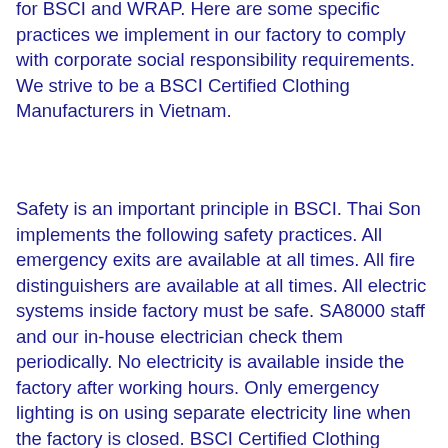for BSCI and WRAP. Here are some specific practices we implement in our factory to comply with corporate social responsibility requirements. We strive to be a BSCI Certified Clothing Manufacturers in Vietnam.
Safety is an important principle in BSCI. Thai Son implements the following safety practices. All emergency exits are available at all times. All fire distinguishers are available at all times. All electric systems inside factory must be safe. SA8000 staff and our in-house electrician check them periodically. No electricity is available inside the factory after working hours. Only emergency lighting is on using separate electricity line when the factory is closed. BSCI Certified Clothing Manufacturers in Vietnam need to implement measures like these to qualify.
Thai Son has the following two options to allow workers to complain to management? Workers can talk directly to the factory manager or submit a written notice by letterbox at private places with no supervision. Other BSCI Certified Clothing Manufacturers in Vietnam have similar procedures.
When workers have the following working conditions, Thai...